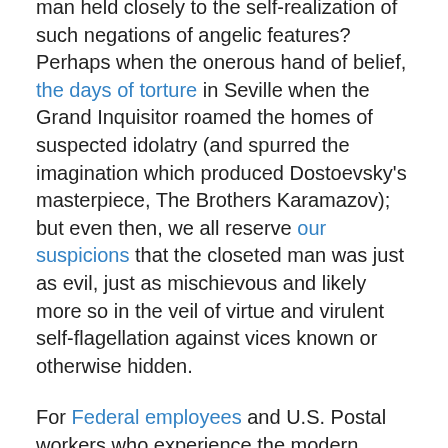man held closely to the self-realization of such negations of angelic features?  Perhaps when the onerous hand of belief, the days of torture in Seville when the Grand Inquisitor roamed the homes of suspected idolatry (and spurred the imagination which produced Dostoevsky's masterpiece, The Brothers Karamazov); but even then, we all reserve our suspicions that the closeted man was just as evil, just as mischievous and likely more so in the veil of virtue and virulent self-flagellation against vices known or otherwise hidden.
For Federal employees and U.S. Postal workers who experience the modern version of a witch-hunt, it is time to prepare an effective Federal Disability Retirement application in order to escape the wrath of the Agency's predatory appetite.  The U.S. Postal Service and the Federal Agency are predatory animals who can sniff out